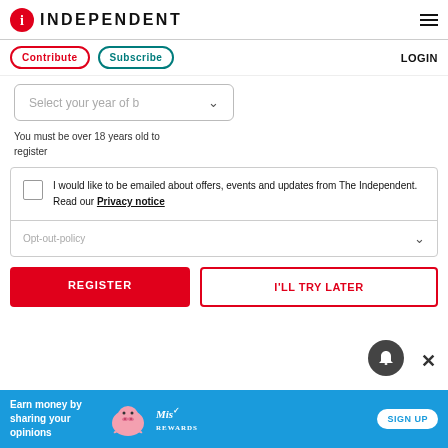INDEPENDENT
Contribute  Subscribe  LOGIN
Select your year of b
You must be over 18 years old to register
I would like to be emailed about offers, events and updates from The Independent. Read our Privacy notice
Opt-out-policy
REGISTER
I'LL TRY LATER
Earn money by sharing your opinions  SIGN UP